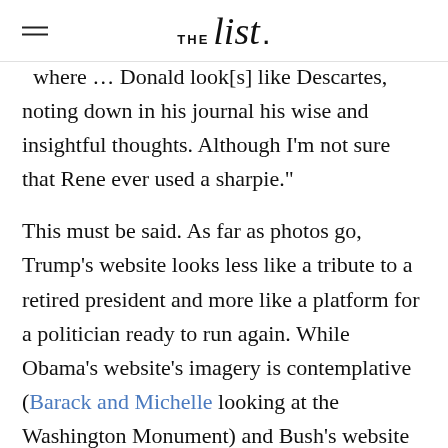THE list.
where … Donald look[s] like Descartes, noting down in his journal his wise and insightful thoughts. Although I'm not sure that Rene ever used a sharpie."
This must be said. As far as photos go, Trump's website looks less like a tribute to a retired president and more like a platform for a politician ready to run again. While Obama's website's imagery is contemplative (Barack and Michelle looking at the Washington Monument) and Bush's website is free-time-oriented (Dubya and Laura at a ball game), Trump's is full of action shots: in a graveyard with troops, getting onto airforce one, and, yes, shaking hands with Kim Jong...